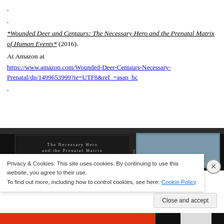.
.
*Wounded Deer and Centaurs: The Necessary Hero and the Prenatal Matrix of Human Events* (2016).
At Amazon at
https://www.amazon.com/Wounded-Deer-Centaurs-Necessary-Prenatal/dp/1499653999?ie=UTF8&ref_=asap_bc
.
[Figure (photo): Book cover image showing 'The Necessary Hero and the Prenatal Matrix of Human Events' with dark background and decorative border]
Privacy & Cookies: This site uses cookies. By continuing to use this website, you agree to their use.
To find out more, including how to control cookies, see here: Cookie Policy
Close and accept